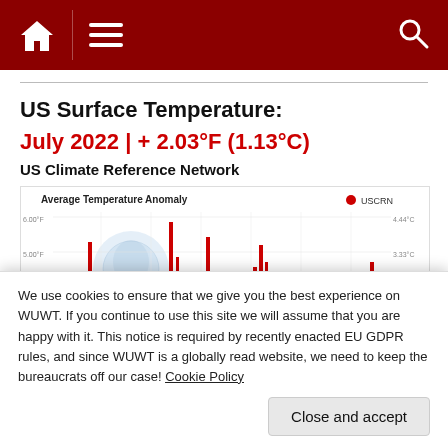Navigation bar with home, menu, and search icons
US Surface Temperature:
July 2022 | + 2.03°F (1.13°C)
US Climate Reference Network
[Figure (bar-chart): Bar chart showing average temperature anomaly over time with USCRN data, red bars with NOAA watermark, y-axis shows values around 4.00°F to 6.00°F on left and 2.22°C to 4.44°C on right]
We use cookies to ensure that we give you the best experience on WUWT. If you continue to use this site we will assume that you are happy with it. This notice is required by recently enacted EU GDPR rules, and since WUWT is a globally read website, we need to keep the bureaucrats off our case! Cookie Policy
Close and accept